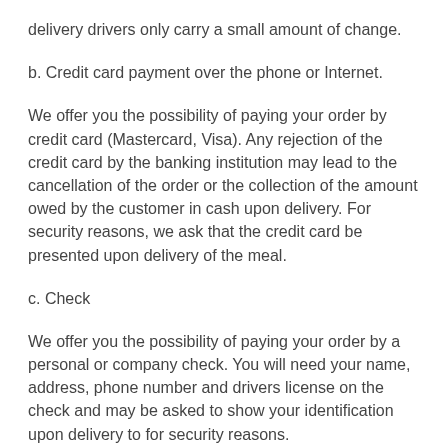delivery drivers only carry a small amount of change.
b. Credit card payment over the phone or Internet.
We offer you the possibility of paying your order by credit card (Mastercard, Visa). Any rejection of the credit card by the banking institution may lead to the cancellation of the order or the collection of the amount owed by the customer in cash upon delivery. For security reasons, we ask that the credit card be presented upon delivery of the meal.
c. Check
We offer you the possibility of paying your order by a personal or company check. You will need your name, address, phone number and drivers license on the check and may be asked to show your identification upon delivery to for security reasons.
d. Gift Certificate
Gift certificate purchased on our site can be redeemed on